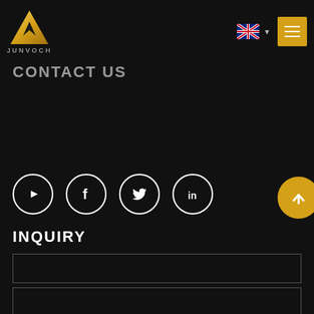[Figure (logo): JUNVOCH gold triangle logo with brand name below]
[Figure (other): UK flag icon with dropdown arrow and hamburger menu button in gold]
CONTACT US
[Figure (other): Social media icons row: YouTube, Facebook, Twitter, LinkedIn (white circle outlines on black). Gold back-to-top circle button on right.]
INQUIRY
[Figure (other): Inquiry form input field (first field, single line)]
[Figure (other): Inquiry form text area (second field, taller)]